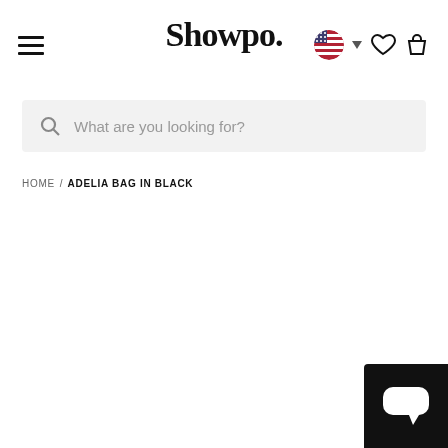Showpo.
What are you looking for?
HOME / ADELIA BAG IN BLACK
[Figure (other): Chat support widget — black square button with white speech bubble icon in bottom-right corner]